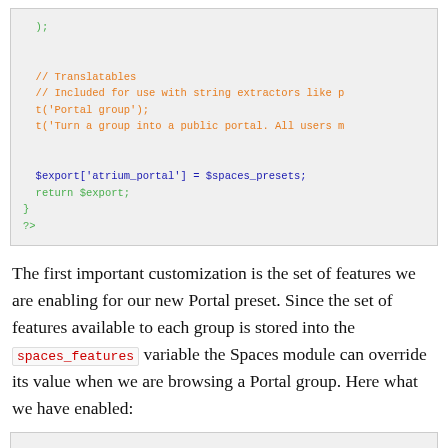[Figure (screenshot): PHP code block showing closing of a function with Translatables comment, t() calls, $export assignment, return statement, closing brace and PHP closing tag ?>]
The first important customization is the set of features we are enabling for our new Portal preset. Since the set of features available to each group is stored into the spaces_features variable the Spaces module can override its value when we are browsing a Portal group. Here what we have enabled:
[Figure (screenshot): Bottom of another PHP code block, partially visible]